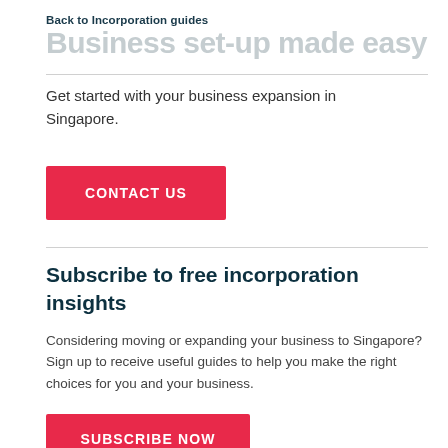Back to Incorporation guides
Business set-up made easy
Get started with your business expansion in Singapore.
CONTACT US
Subscribe to free incorporation insights
Considering moving or expanding your business to Singapore? Sign up to receive useful guides to help you make the right choices for you and your business.
SUBSCRIBE NOW